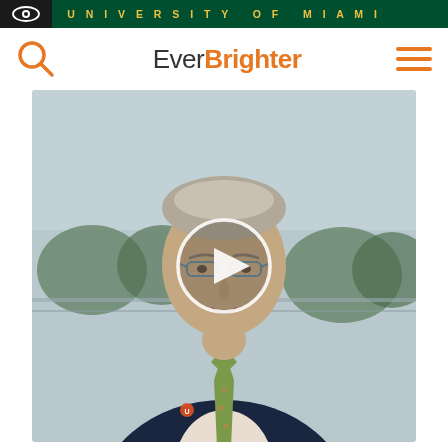UNIVERSITY OF MIAMI
Ever Brighter
[Figure (screenshot): Video thumbnail showing an older man in a dark suit with a green patterned tie and University of Miami pin, standing outdoors. A circular play button overlay is centered on the image. Background shows trees and sky.]